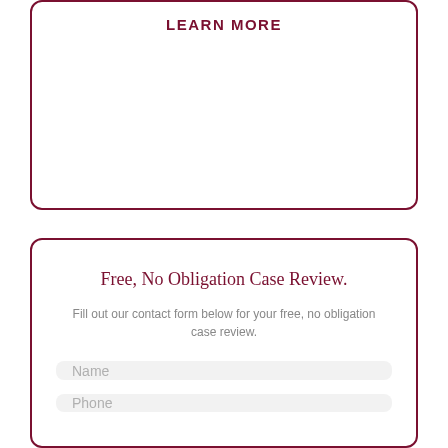LEARN MORE
Free, No Obligation Case Review.
Fill out our contact form below for your free, no obligation case review.
Name
Phone